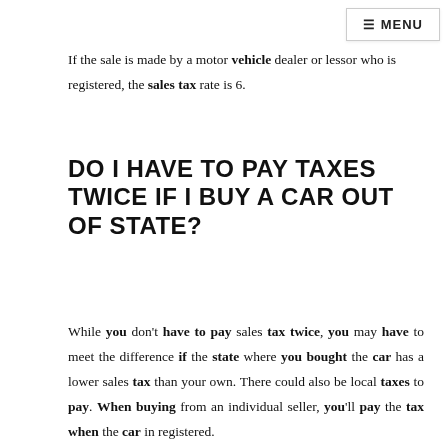≡ MENU
If the sale is made by a motor vehicle dealer or lessor who is registered, the sales tax rate is 6.
DO I HAVE TO PAY TAXES TWICE IF I BUY A CAR OUT OF STATE?
While you don't have to pay sales tax twice, you may have to meet the difference if the state where you bought the car has a lower sales tax than your own. There could also be local taxes to pay. When buying from an individual seller, you'll pay the tax when the car in registered.